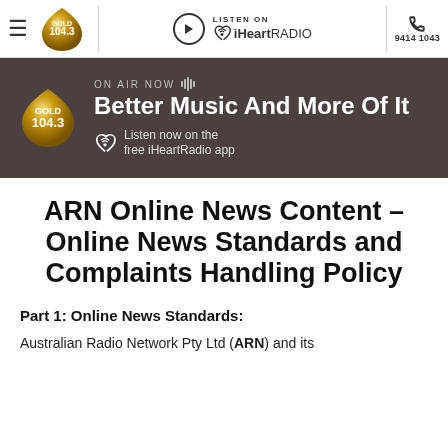Gold 104.3 — LISTEN ON iHeartRADIO — 9414 1043
[Figure (screenshot): Gold 104.3 website banner showing ON AIR NOW, Better Music And More Of It, with iHeartRadio app prompt]
ARN Online News Content – Online News Standards and Complaints Handling Policy
Part 1: Online News Standards:
Australian Radio Network Pty Ltd (ARN) and its